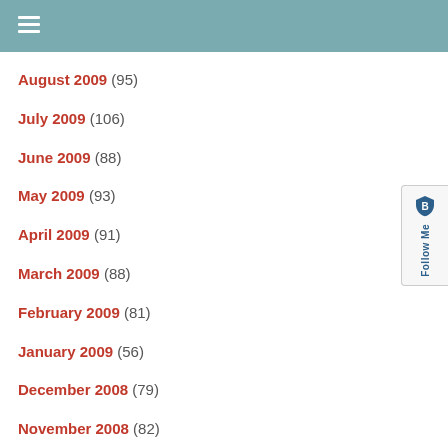≡
August 2009 (95)
July 2009 (106)
June 2009 (88)
May 2009 (93)
April 2009 (91)
March 2009 (88)
February 2009 (81)
January 2009 (56)
December 2008 (79)
November 2008 (82)
October 2008 (90)
September 2008 (81)
August 2008 (88)
July 2008 (5)